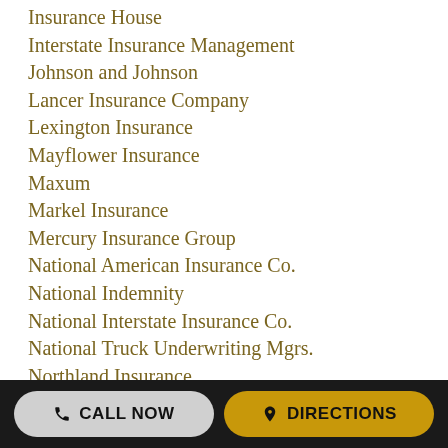Insurance House
Interstate Insurance Management
Johnson and Johnson
Lancer Insurance Company
Lexington Insurance
Mayflower Insurance
Maxum
Markel Insurance
Mercury Insurance Group
National American Insurance Co.
National Indemnity
National Interstate Insurance Co.
National Truck Underwriting Mgrs.
Northland Insurance
Ohio Casualty
One Beacon
OOIDA
PMA Insurance
Progressive
CALL NOW   DIRECTIONS